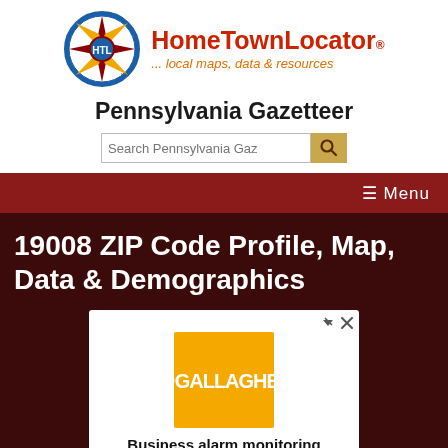[Figure (logo): HomeTownLocator logo with compass rose icon and text 'HomeTownLocator ... local maps, data & resources']
Pennsylvania Gazetteer
[Figure (screenshot): Search box with placeholder 'Search Pennsylvania Gaz' and orange search button]
☰ Menu
19008 ZIP Code Profile, Map, Data & Demographics
[Figure (photo): Advertisement for Gallagher Business alarm monitoring with orange logo and text 'Business alarm monitoring - Choose to self-monitor your business']